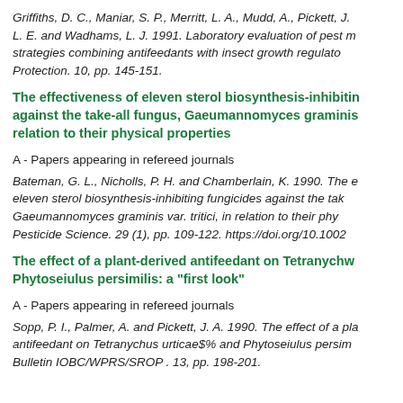Griffiths, D. C., Maniar, S. P., Merritt, L. A., Mudd, A., Pickett, J. A., Pye, B. J., Smart, L. E. and Wadhams, L. J. 1991. Laboratory evaluation of pest management strategies combining antifeedants with insect growth regulators. Pesticide Science. 10, pp. 145-151.
The effectiveness of eleven sterol biosynthesis-inhibiting fungicides against the take-all fungus, Gaeumannomyces graminis var. tritici, in relation to their physical properties
A - Papers appearing in refereed journals
Bateman, G. L., Nicholls, P. H. and Chamberlain, K. 1990. The effectiveness of eleven sterol biosynthesis-inhibiting fungicides against the take-all fungus, Gaeumannomyces graminis var. tritici, in relation to their physical properties. Pesticide Science. 29 (1), pp. 109-122. https://doi.org/10.1002/...
The effect of a plant-derived antifeedant on Tetranychus urticae and Phytoseiulus persimilis: a "first look"
A - Papers appearing in refereed journals
Sopp, P. I., Palmer, A. and Pickett, J. A. 1990. The effect of a plant-derived antifeedant on Tetranychus urticae$% and Phytoseiulus persimilis. Bulletin IOBC/WPRS/SROP . 13, pp. 198-201.